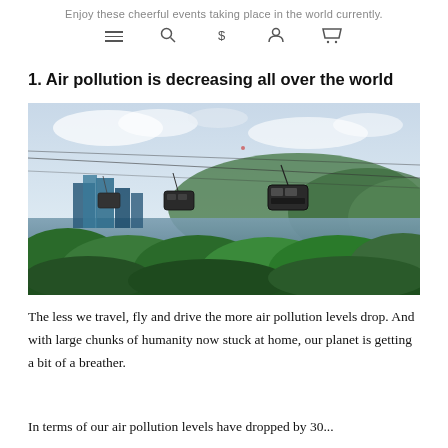Enjoy these cheerful events taking place in the world currently.
1. Air pollution is decreasing all over the world
[Figure (photo): Aerial cable car gondolas suspended over a city with green hills, blue-green water, and modern buildings visible in a hazy skyline.]
The less we travel, fly and drive the more air pollution levels drop. And with large chunks of humanity now stuck at home, our planet is getting a bit of a breather.
In terms of our air pollution levels have dropped by 30...